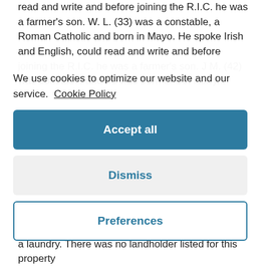read and write and before joining the R.I.C. he was a farmer's son. W. L. (33) was a constable, a Roman Catholic and born in Mayo. He spoke Irish and English, could read and write and before joining the R.I.C. he was a farmer's son. J M. (42) was constable and he was born in Co. Kerry...
We use cookies to optimize our website and our service. Cookie Policy
Accept all
Dismiss
Preferences
a laundry. There was no landholder listed for this property